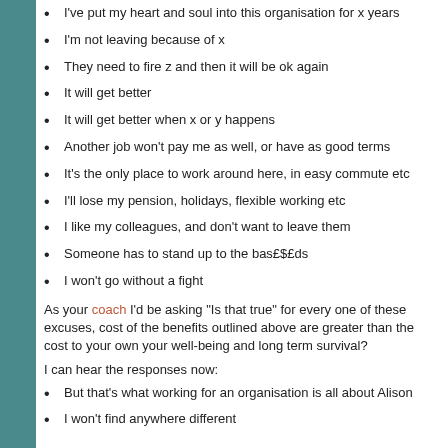I've put my heart and soul into this organisation for x years
I'm not leaving because of x
They need to fire z and then it will be ok again
It will get better
It will get better when x or y happens
Another job won't pay me as well, or have as good terms
It's the only place to work around here, in easy commute etc
I'll lose my pension, holidays, flexible working etc
I like my colleagues, and don't want to leave them
Someone has to stand up to the bas£$£ds
I won't go without a fight
As your coach I'd be asking "Is that true" for every one of these excuses, cost of the benefits outlined above are greater than the cost to your own your well-being and long term survival?
I can hear the responses now:
But that's what working for an organisation is all about Alison
I won't find anywhere different